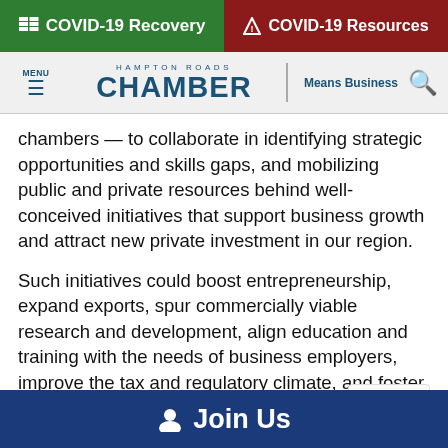COVID-19 Recovery | COVID-19 Resources
[Figure (screenshot): Hampton Roads Chamber navigation bar with MENU hamburger icon, HAMPTON ROADS CHAMBER logo with Means Business tagline, and search icon]
chambers — to collaborate in identifying strategic opportunities and skills gaps, and mobilizing public and private resources behind well-conceived initiatives that support business growth and attract new private investment in our region.
Such initiatives could boost entrepreneurship, expand exports, spur commercially viable research and development, align education and training with the needs of business employers, improve the tax and regulatory climate, and foster conditions and industry clusters in which small and large businesses can and create jobs.
Join Us